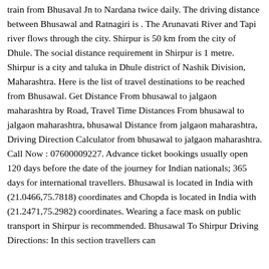train from Bhusaval Jn to Nardana twice daily. The driving distance between Bhusawal and Ratnagiri is . The Arunavati River and Tapi river flows through the city. Shirpur is 50 km from the city of Dhule. The social distance requirement in Shirpur is 1 metre. Shirpur is a city and taluka in Dhule district of Nashik Division, Maharashtra. Here is the list of travel destinations to be reached from Bhusawal. Get Distance From bhusawal to jalgaon maharashtra by Road, Travel Time Distances From bhusawal to jalgaon maharashtra, bhusawal Distance from jalgaon maharashtra, Driving Direction Calculator from bhusawal to jalgaon maharashtra. Call Now : 07600009227. Advance ticket bookings usually open 120 days before the date of the journey for Indian nationals; 365 days for international travellers. Bhusawal is located in India with (21.0466,75.7818) coordinates and Chopda is located in India with (21.2471,75.2982) coordinates. Wearing a face mask on public transport in Shirpur is recommended. Bhusawal To Shirpur Driving Directions: In this section travellers can